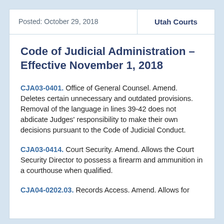Posted: October 29, 2018 | Utah Courts
Code of Judicial Administration – Effective November 1, 2018
CJA03-0401. Office of General Counsel. Amend. Deletes certain unnecessary and outdated provisions. Removal of the language in lines 39-42 does not abdicate Judges' responsibility to make their own decisions pursuant to the Code of Judicial Conduct.
CJA03-0414. Court Security. Amend. Allows the Court Security Director to possess a firearm and ammunition in a courthouse when qualified.
CJA04-0202.03. Records Access. Amend. Allows for